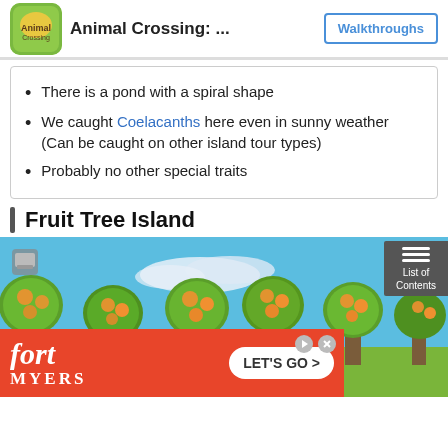Animal Crossing: ...  |  Walkthroughs
There is a pond with a spiral shape
We caught Coelacanths here even in sunny weather (Can be caught on other island tour types)
Probably no other special traits
Fruit Tree Island
[Figure (screenshot): Animal Crossing game screenshot showing multiple fruit trees with orange fruits against a blue sky with clouds]
[Figure (infographic): Fort Myers advertisement banner with red background, stylized fort/MYERS text and LET'S GO button]